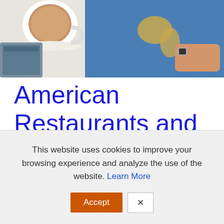[Figure (photo): Travel-themed photo showing a coffee cup on the left side and a blue world map with a person's hand on the right side, viewed from above on a white surface]
American Restaurants and Stores in London
By Margaret
If you have ever wondered about the best places to eat and shop...
This website uses cookies to improve your browsing experience and analyze the use of the website. Learn More
Accept  X